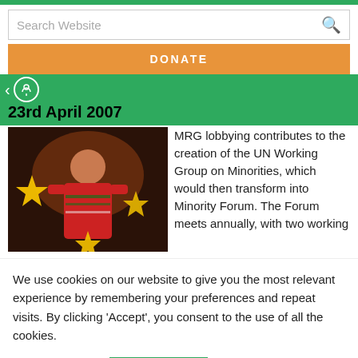Search Website
DONATE
23rd April 2007
[Figure (photo): A woman in traditional red and colorful ethnic minority clothing holding decorative star-shaped items, with a festive background.]
MRG lobbying contributes to the creation of the UN Working Group on Minorities, which would then transform into Minority Forum. The Forum meets annually, with two working
We use cookies on our website to give you the most relevant experience by remembering your preferences and repeat visits. By clicking 'Accept', you consent to the use of all the cookies.
Cookie settings
ACCEPT